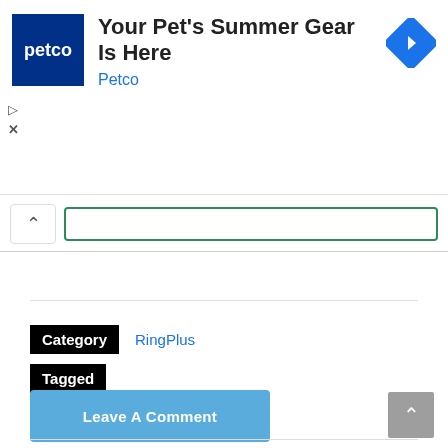[Figure (screenshot): Petco advertisement banner with dark blue Petco logo, text 'Your Pet's Summer Gear Is Here' and 'Petco', and a blue diamond navigation icon on the right. Play and close controls below logo.]
[Figure (screenshot): Search bar area with chevron/collapse button and green-bordered search input box]
Category  RingPlus
Tagged
Leave A Comment